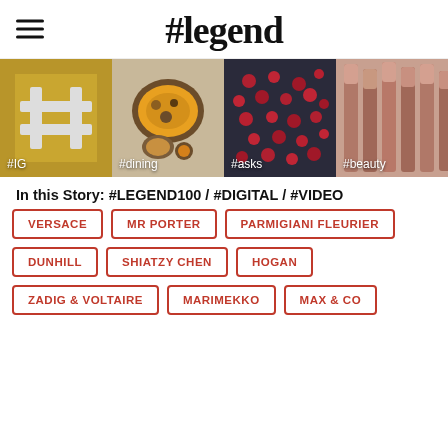#legend
[Figure (photo): Four image tiles in a row: #IG (gold hashtag symbol), #dining (food bowl), #asks (red berries on dark background), #beauty (cosmetic pencils)]
In this Story: #LEGEND100 / #DIGITAL / #VIDEO
VERSACE
MR PORTER
PARMIGIANI FLEURIER
DUNHILL
SHIATZY CHEN
HOGAN
ZADIG & VOLTAIRE
MARIMEKKO
MAX & CO